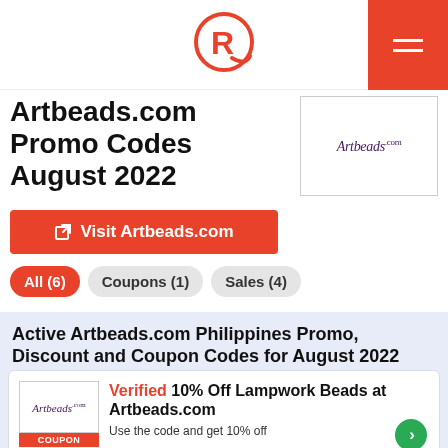[Figure (logo): Rappler logo - red R in circle with swish, website navigation header with red hamburger menu button on right]
Artbeads.com Promo Codes August 2022
[Figure (logo): Artbeads.com brand logo in purple italic serif font inside white box with border]
Visit Artbeads.com
All (6)
Coupons (1)
Sales (4)
Active Artbeads.com Philippines Promo, Discount and Coupon Codes for August 2022
Verified 10% Off Lampwork Beads at Artbeads.com
Use the code and get 10% off